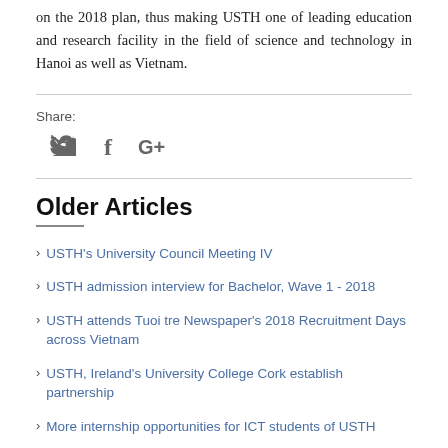on the 2018 plan, thus making USTH one of leading education and research facility in the field of science and technology in Hanoi as well as Vietnam.
Share:
[Figure (other): Social media share icons: Twitter bird icon, Facebook f icon, Google+ G+ icon]
Older Articles
USTH's University Council Meeting IV
USTH admission interview for Bachelor, Wave 1 - 2018
USTH attends Tuoi tre Newspaper's 2018 Recruitment Days across Vietnam
USTH, Ireland's University College Cork establish partnership
More internship opportunities for ICT students of USTH